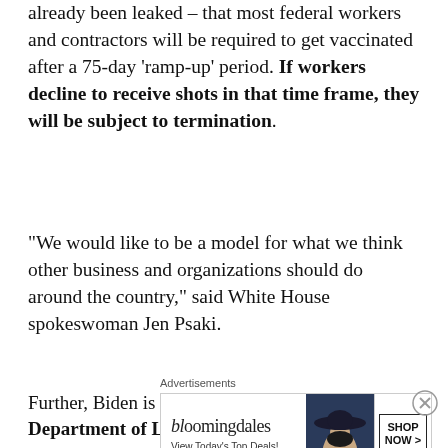already been leaked – that most federal workers and contractors will be required to get vaccinated after a 75-day 'ramp-up' period. If workers decline to receive shots in that time frame, they will be subject to termination.
“We would like to be a model for what we think other business and organizations should do around the country,” said White House spokeswoman Jen Psaki.
Further, Biden is expected to announce that the Department of Labor will compel employers
[Figure (other): Bloomingdale's advertisement banner: logo text 'bloomingdales', tagline 'View Today's Top Deals!', image of woman in wide-brim hat, 'SHOP NOW >' button]